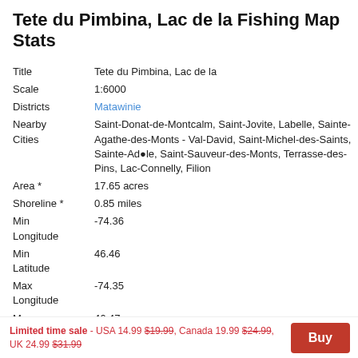Tete du Pimbina, Lac de la Fishing Map Stats
| Title | Tete du Pimbina, Lac de la |
| Scale | 1:6000 |
| Districts | Matawinie |
| Nearby Cities | Saint-Donat-de-Montcalm, Saint-Jovite, Labelle, Sainte-Agathe-des-Monts - Val-David, Saint-Michel-des-Saints, Sainte-Adèle, Saint-Sauveur-des-Monts, Terrasse-des-Pins, Lac-Connelly, Filion |
| Area * | 17.65 acres |
| Shoreline * | 0.85 miles |
| Min Longitude | -74.36 |
| Min Latitude | 46.46 |
| Max Longitude | -74.35 |
| Max Latitude | 46.47 |
| Edition Label 1 |  |
| Edition Label 2 |  |
Limited time sale - USA 14.99 $19.99, Canada 19.99 $24.99, UK 24.99 $31.99